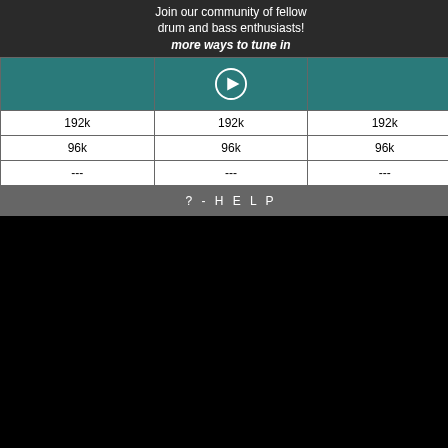Join our community of fellow drum and bass enthusiasts!
more ways to tune in
|  |  |  |
| --- | --- | --- |
| 192k | 192k | 192k |
| 96k | 96k | 96k |
| --- | --- | --- |
? - H E L P
[Figure (screenshot): Search input box]
by anonymous
Other matches
| Year |
| --- |
|  |
Other matches
| Year | Artist - Title |
| --- | --- |
| 2008 | Insideinfo |
| 2008 | Insideinfo |
| 2016 | The Proto |
| 2016 | Trei - See |
| 2016 | The Proto |
| 2016 | Smooth - |